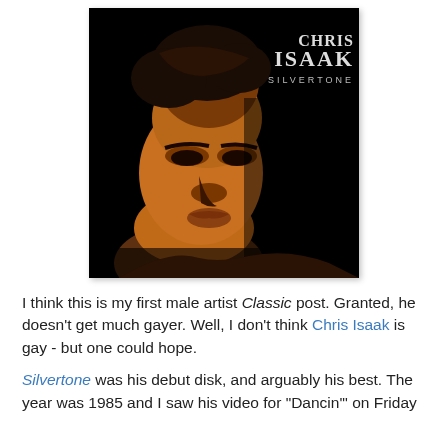[Figure (photo): Album cover for Chris Isaak's 'Silvertone'. Dark, moody close-up portrait of a young man with slicked back hair against a black background. In the upper right corner, the text 'CHRIS ISAAK' in large serif font and 'SILVERTONE' in smaller spaced caps below it.]
I think this is my first male artist Classic post. Granted, he doesn't get much gayer. Well, I don't think Chris Isaak is gay - but one could hope.
Silvertone was his debut disk, and arguably his best. The year was 1985 and I saw his video for "Dancin'" on Friday